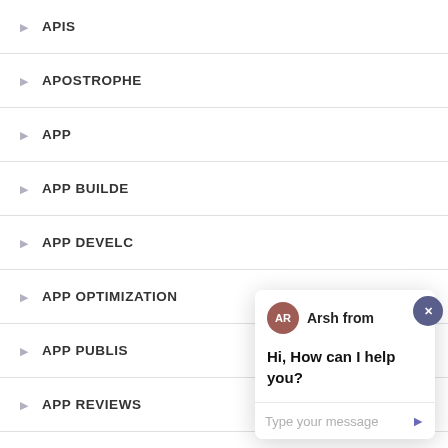APIS
APOSTROPHE
APP
APP BUILDE
APP DEVELC
APP OPTIMIZATION
APP PUBLIS
APP REVIEWS
APP STORES
[Figure (screenshot): Chat widget overlay showing avatar with initials AR, agent name 'Arsh from', message 'Hi, How can I help you?', and a type-your-message input field with send arrow button. Close button (x) in top-right corner.]